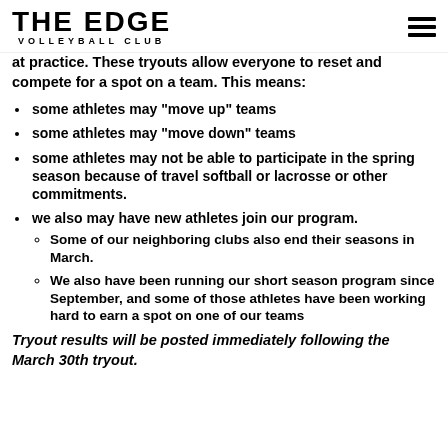THE EDGE VOLLEYBALL CLUB
at practice. These tryouts allow everyone to reset and compete for a spot on a team. This means:
some athletes may "move up" teams
some athletes may "move down" teams
some athletes may not be able to participate in the spring season because of travel softball or lacrosse or other commitments.
we also may have new athletes join our program.
Some of our neighboring clubs also end their seasons in March.
We also have been running our short season program since September, and some of those athletes have been working hard to earn a spot on one of our teams
Tryout results will be posted immediately following the March 30th tryout.